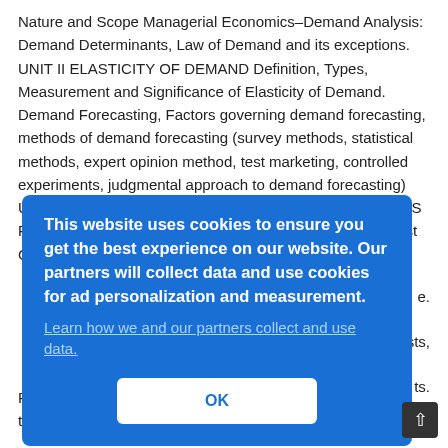Nature and Scope Managerial Economics–Demand Analysis: Demand Determinants, Law of Demand and its exceptions. UNIT II ELASTICITY OF DEMAND Definition, Types, Measurement and Significance of Elasticity of Demand. Demand Forecasting, Factors governing demand forecasting, methods of demand forecasting (survey methods, statistical methods, expert opinion method, test marketing, controlled experiments, judgmental approach to demand forecasting) UNIT III THEORY OF PRODUCTION AND COST ANALYSIS Production Function – Isoquants and Isocosts, MRTS, Least Cost Combination of Inputs, Production
[Figure (screenshot): Cookie consent overlay dialog on a blue background. Text reads: 'This website uses cookies to ensure you get the best experience on our website. Our partners will collect data and use cookies for ad personalization and measurement.' with a link 'Learn how we and our partners collect and use data.' and an OK button.]
Partnership, Joint Stock Company, Public Enterprises and their types